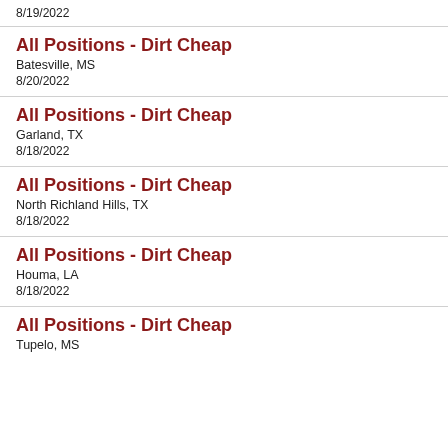8/19/2022
All Positions - Dirt Cheap
Batesville, MS
8/20/2022
All Positions - Dirt Cheap
Garland, TX
8/18/2022
All Positions - Dirt Cheap
North Richland Hills, TX
8/18/2022
All Positions - Dirt Cheap
Houma, LA
8/18/2022
All Positions - Dirt Cheap
Tupelo, MS